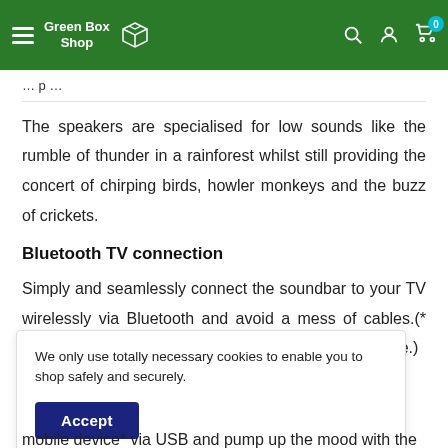Green Box Shop
The speakers are specialised for low sounds like the rumble of thunder in a rainforest whilst still providing the concert of chirping birds, howler monkeys and the buzz of crickets.
Bluetooth TV connection
Simply and seamlessly connect the soundbar to your TV wirelessly via Bluetooth and avoid a mess of cables.(* Please check whether your TV is Bluetooth compatible.)
We only use totally necessary cookies to enable you to shop safely and securely.
mobile device* via USB and pump up the mood with the